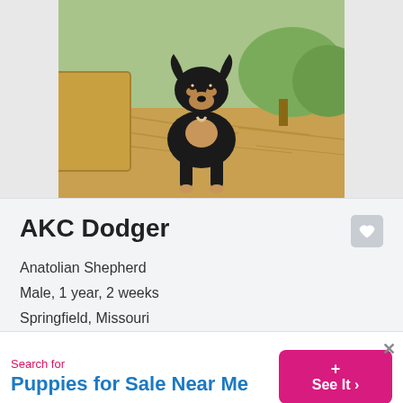[Figure (photo): Black and tan dog (Anatolian Shepherd) standing on hay/straw in a farm setting with green grass and trees in background]
AKC Dodger
Anatolian Shepherd
Male, 1 year, 2 weeks
Springfield, Missouri
Champion Bloodlines
Show Potential
Learn more >
Search for
Puppies for Sale Near Me
[Figure (other): See It > button (pink/magenta) with + symbol]